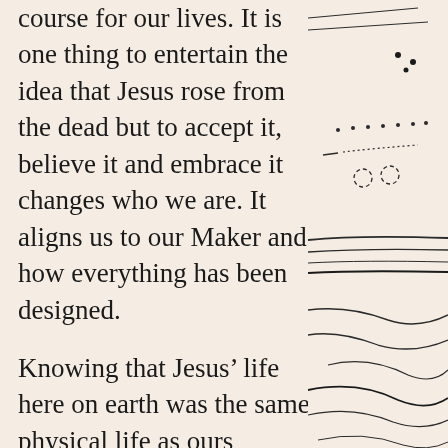course for our lives. It is one thing to entertain the idea that Jesus rose from the dead but to accept it, believe it and embrace it changes who we are. It aligns us to our Maker and how everything has been designed.
Knowing that Jesus’ life here on earth was the same physical life as ours connects us. He did not have to say “See I am like you. I feel what mortals feel. I bleed like you.” He didn’t have to say any of that because He lived it. His life is the example to us that we need to learn from. Reading about His death and watching different film versions of the brutal, horrendous way He died is too much to take. I
[Figure (illustration): Abstract ink line drawing showing landscape-like horizontal lines, dotted patterns, and flowing curved lines suggesting terrain or natural forms.]